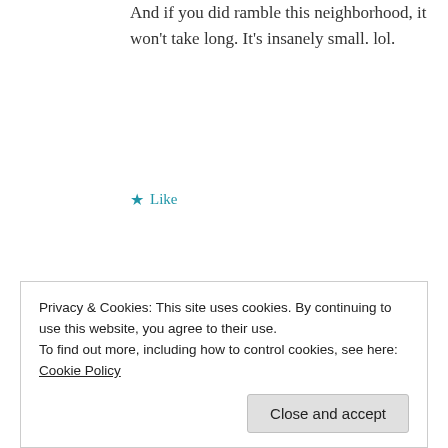And if you did ramble this neighborhood, it won't take long. It's insanely small. lol.
★ Like
manitobamomblog
JUNE 28, 2020 AT 7:02 PM
Privacy & Cookies: This site uses cookies. By continuing to use this website, you agree to their use.
To find out more, including how to control cookies, see here: Cookie Policy
Close and accept